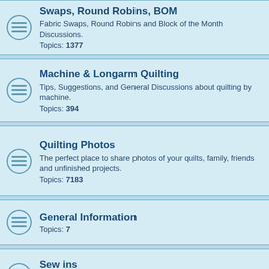Swaps, Round Robins, BOM
Fabric Swaps, Round Robins and Block of the Month Discussions.
Topics: 1377
Machine & Longarm Quilting
Tips, Suggestions, and General Discussions about quilting by machine.
Topics: 394
Quilting Photos
The perfect place to share photos of your quilts, family, friends and unfinished projects.
Topics: 7183
General Information
Topics: 7
Sew ins
Daily discussions.
Topics: 6507
Chit Chat
General discussion of the quilting world, and topics that don't fit in other categories.